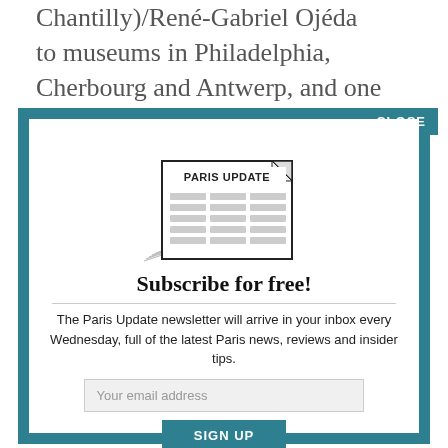Chantilly)/René-Gabriel Ojéda
to museums in Philadelphia, Cherbourg and Antwerp, and one from a private collection. Take the time to study this piece, which may
CLOSE
[Figure (illustration): Illustration of a newspaper titled PARIS UPDATE with sketched content lines and decorative shadow lines at bottom left]
Subscribe for free!
The Paris Update newsletter will arrive in your inbox every Wednesday, full of the latest Paris news, reviews and insider tips.
Your email address
SIGN UP